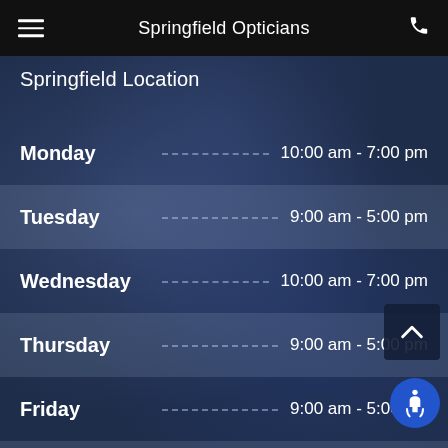Springfield Opticians
Springfield Location
| Day | Hours |
| --- | --- |
| Monday | 10:00 am - 7:00 pm |
| Tuesday | 9:00 am - 5:00 pm |
| Wednesday | 10:00 am - 7:00 pm |
| Thursday | 9:00 am - 5:00 pm |
| Friday | 9:00 am - 5:00 pm |
| Saturday | Closed |